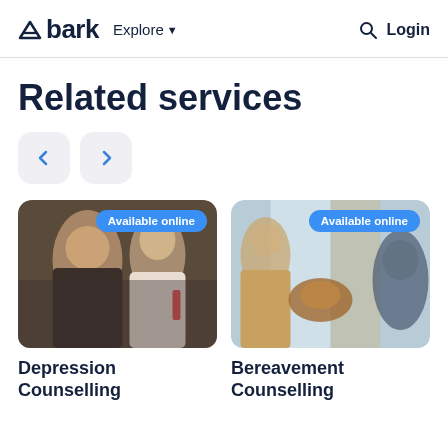bark  Explore  Login
Related services
[Figure (screenshot): Two navigation arrow buttons (left and right) with rounded rectangle backgrounds]
[Figure (photo): Photo of two people in conversation, counselling session, with 'Available online' badge]
Depression Counselling
[Figure (photo): Photo of people with a puppy dog, bereavement counselling session, with 'Available online' badge]
Bereavement Counselling